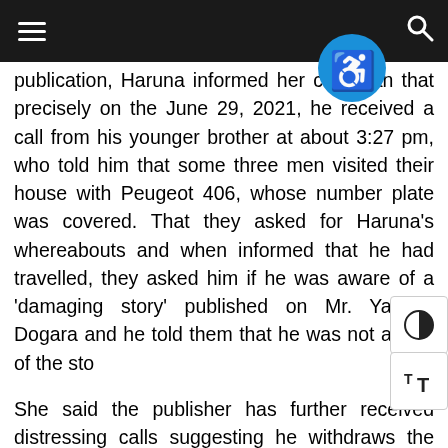publication, Haruna informed her chairman that precisely on the June 29, 2021, he received a call from his younger brother at about 3:27 pm, who told him that some three men visited their house with Peugeot 406, whose number plate was covered. That they asked for Haruna's whereabouts and when informed that he had travelled, they asked him if he was aware of a 'damaging story' published on Mr. Yakubu Dogara and he told them that he was not aware of the story.
She said the publisher has further received distressing calls suggesting he withdraws the publication and back-down from subsequent publication on Yakubu Dogara – an omen that has distracted him and made him really afraid for his life. That Haruna said at the moment he is unable to return to Bauchi because he